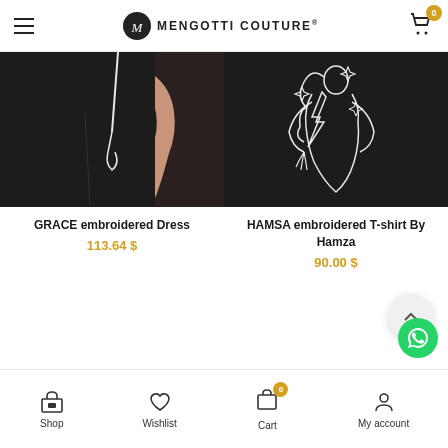Mengotti Couture
[Figure (photo): Product photo of GRACE embroidered Dress - black dress with white zipper/tie detail on a model]
GRACE embroidered Dress
113.64 $
[Figure (photo): Product photo of HAMSA embroidered T-shirt By Hamza - black shirt with white line-art embroidery of a figure]
HAMSA embroidered T-shirt By Hamza
90.00 $
Shop  Wishlist  Cart 0  My account